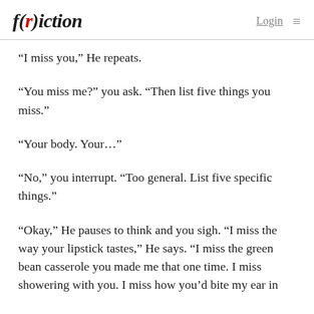f(r)iction  Login ≡
“I miss you,” He repeats.
“You miss me?” you ask. “Then list five things you miss.”
“Your body. Your…”
“No,” you interrupt. “Too general. List five specific things.”
“Okay,” He pauses to think and you sigh. “I miss the way your lipstick tastes,” He says. “I miss the green bean casserole you made me that one time. I miss showering with you. I miss how you’d bite my ear in